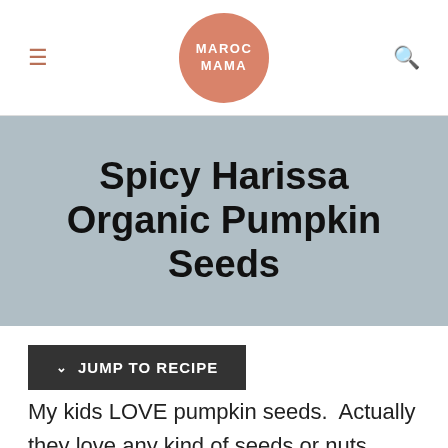[Figure (logo): MarocMama logo: circular salmon/terracotta colored badge with white text reading MAROC MAMA]
Spicy Harissa Organic Pumpkin Seeds
JUMP TO RECIPE
My kids LOVE pumpkin seeds.  Actually they love any kind of seeds or nuts, sunflower seeds, soybeans, almonds